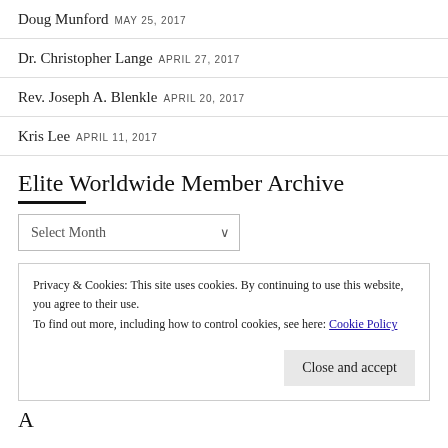Doug Munford MAY 25, 2017
Dr. Christopher Lange APRIL 27, 2017
Rev. Joseph A. Blenkle APRIL 20, 2017
Kris Lee APRIL 11, 2017
Elite Worldwide Member Archive
Select Month (dropdown)
Privacy & Cookies: This site uses cookies. By continuing to use this website, you agree to their use.
To find out more, including how to control cookies, see here: Cookie Policy
Close and accept
A (partial, cut off)